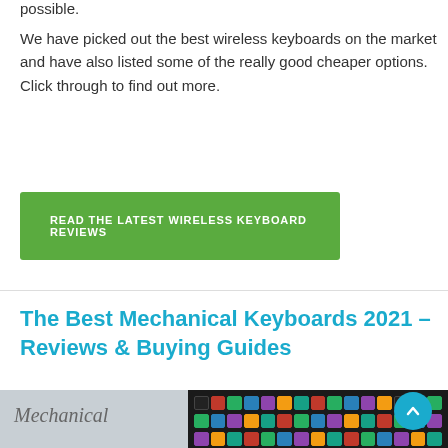possible.
We have picked out the best wireless keyboards on the market and have also listed some of the really good cheaper options. Click through to find out more.
[Figure (other): Green call-to-action button reading READ THE LATEST WIRELESS KEYBOARD REVIEWS]
The Best Mechanical Keyboards 2021 – Reviews & Buying Guides
[Figure (photo): Partial image of mechanical keyboards with RGB backlighting and the word Mechanical visible]